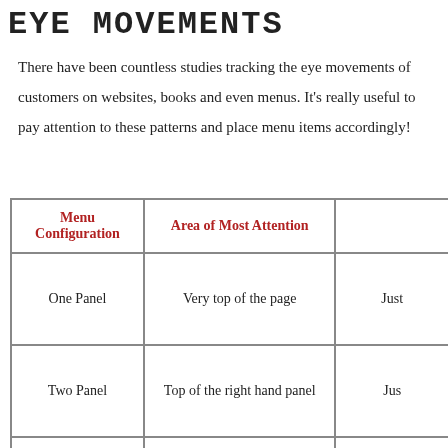EYE MOVEMENTS
There have been countless studies tracking the eye movements of customers on websites, books and even menus. It's really useful to pay attention to these patterns and place menu items accordingly!
| Menu Configuration | Area of Most Attention |  |
| --- | --- | --- |
| One Panel | Very top of the page | Just |
| Two Panel | Top of the right hand panel | Jus |
| Three panel | Top of the third panel - old | Ju |